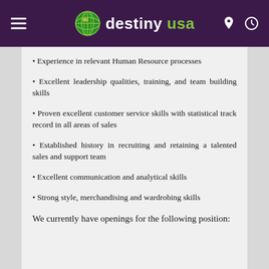destiny usa
Experience in relevant Human Resource processes
Excellent leadership qualities, training, and team building skills
Proven excellent customer service skills with statistical track record in all areas of sales
Established history in recruiting and retaining a talented sales and support team
Excellent communication and analytical skills
Strong style, merchandising and wardrobing skills
We currently have openings for the following position: